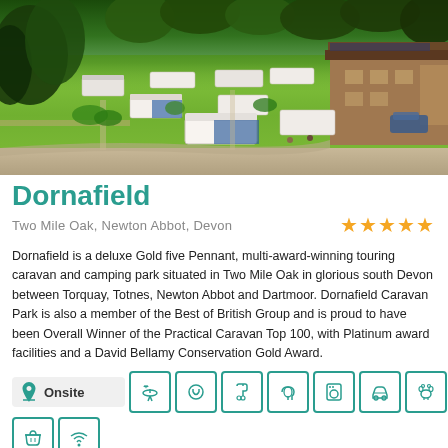[Figure (photo): Aerial view of Dornafield caravan and camping park showing caravans on green grass surrounded by trees]
Dornafield
Two Mile Oak, Newton Abbot, Devon
[Figure (other): 5 gold stars rating]
Dornafield is a deluxe Gold five Pennant, multi-award-winning touring caravan and camping park situated in Two Mile Oak in glorious south Devon between Torquay, Totnes, Newton Abbot and Dartmoor. Dornafield Caravan Park is also a member of the Best of British Group and is proud to have been Overall Winner of the Practical Caravan Top 100, with Platinum award facilities and a David Bellamy Conservation Gold Award.
[Figure (infographic): Onsite amenities icons: BBQ, electric hookup, information, hair dryer, laundry, car, pets, football, shopping basket, wifi]